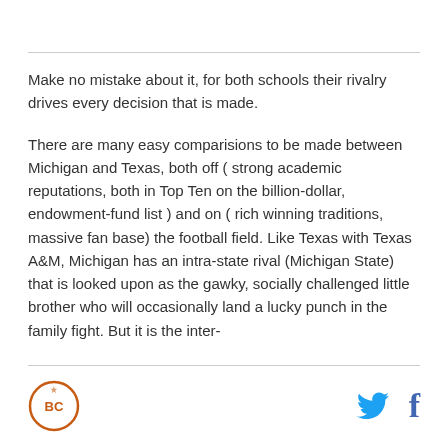Make no mistake about it, for both schools their rivalry drives every decision that is made.
There are many easy comparisions to be made between Michigan and Texas, both off ( strong academic reputations, both in Top Ten on the billion-dollar, endowment-fund list ) and on ( rich winning traditions, massive fan base) the football field. Like Texas with Texas A&M, Michigan has an intra-state rival (Michigan State) that is looked upon as the gawky, socially challenged little brother who will occasionally land a lucky punch in the family fight. But it is the inter-
[Burnt Orange Nation logo] [Twitter icon] [Facebook icon]